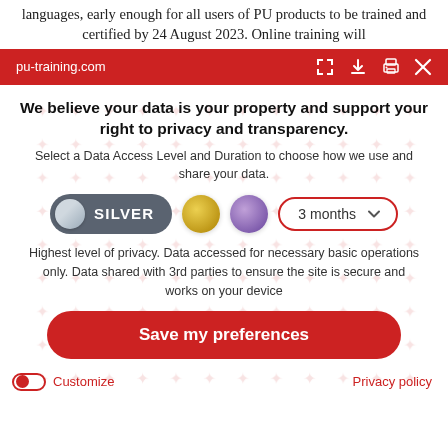languages, early enough for all users of PU products to be trained and certified by 24 August 2023. Online training will
pu-training.com
We believe your data is your property and support your right to privacy and transparency.
Select a Data Access Level and Duration to choose how we use and share your data.
[Figure (infographic): Privacy level selector with SILVER toggle selected, gold circle, purple circle, and 3 months dropdown]
Highest level of privacy. Data accessed for necessary basic operations only. Data shared with 3rd parties to ensure the site is secure and works on your device
Save my preferences
Customize   Privacy policy